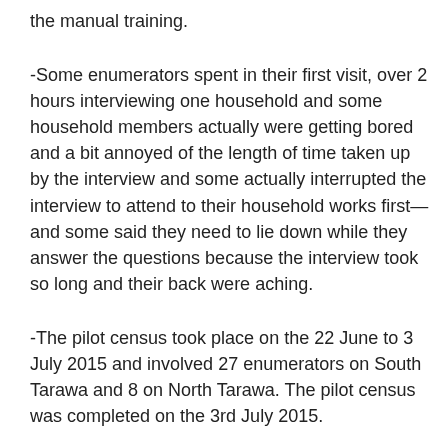the manual training.
-Some enumerators spent in their first visit, over 2 hours interviewing one household and some household members actually were getting bored and a bit annoyed of the length of time taken up by the interview and some actually interrupted the interview to attend to their household works first—and some said they need to lie down while they answer the questions because the interview took so long and their back were aching.
-The pilot census took place on the 22 June to 3 July 2015 and involved 27 enumerators on South Tarawa and 8 on North Tarawa. The pilot census was completed on the 3rd July 2015.
-There were in total 77 supervisors compared to 65 during the 2010 population Census and 337 enumerators compared to 285 during the 2010 Census.